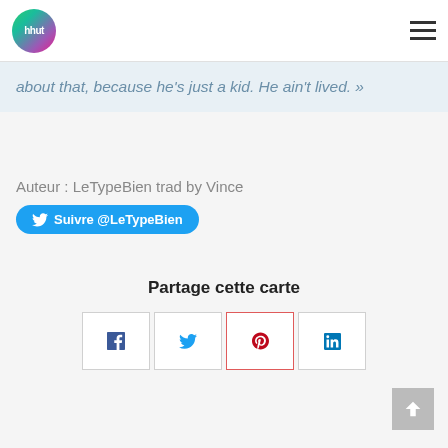hhut logo and hamburger menu
about that, because he's just a kid. He ain't lived. »
Auteur : LeTypeBien trad by Vince
Suivre @LeTypeBien
Partage cette carte